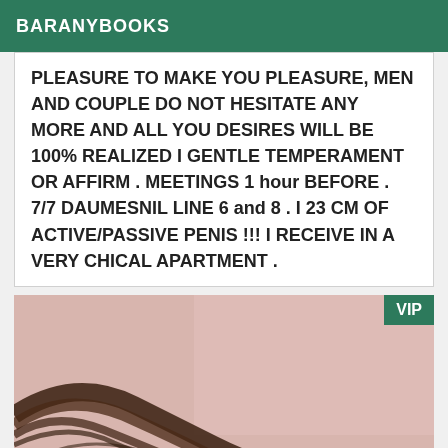BARANYBOOKS
PLEASURE TO MAKE YOU PLEASURE, MEN AND COUPLE DO NOT HESITATE ANY MORE AND ALL YOU DESIRES WILL BE 100% REALIZED I GENTLE TEMPERAMENT OR AFFIRM . MEETINGS 1 hour BEFORE . 7/7 DAUMESNIL LINE 6 and 8 . I 23 CM OF ACTIVE/PASSIVE PENIS !!! I RECEIVE IN A VERY CHICAL APARTMENT .
[Figure (photo): A close-up photo of a person with a manicured fingernail and dark hair strands, VIP badge in top right corner]